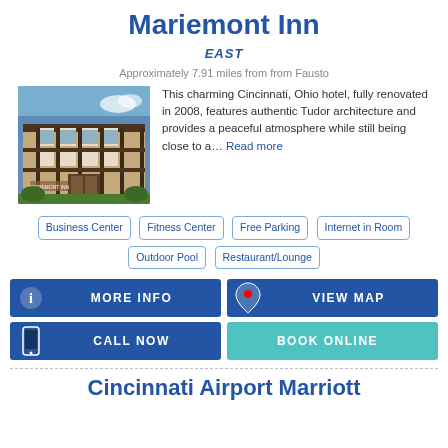Mariemont Inn
EAST
Approximately 7.91 miles from from Fausto
[Figure (photo): Exterior photo of Mariemont Inn showing Tudor architecture building]
This charming Cincinnati, Ohio hotel, fully renovated in 2008, features authentic Tudor architecture and provides a peaceful atmosphere while still being close to a... Read more
Business Center
Fitness Center
Free Parking
Internet in Room
Outdoor Pool
Restaurant/Lounge
MORE INFO
VIEW MAP
CALL NOW
BOOK ONLINE
Cincinnati Airport Marriott